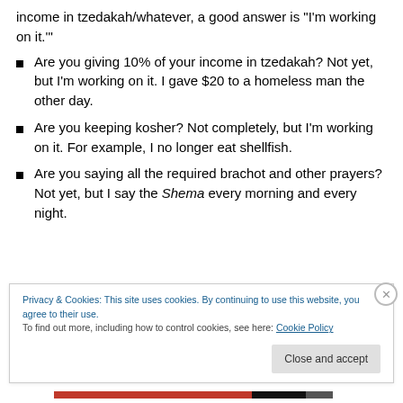income in tzedakah/whatever, a good answer is 'I'm working on it.'"
Are you giving 10% of your income in tzedakah? Not yet, but I'm working on it. I gave $20 to a homeless man the other day.
Are you keeping kosher? Not completely, but I'm working on it. For example, I no longer eat shellfish.
Are you saying all the required brachot and other prayers? Not yet, but I say the Shema every morning and every night.
Privacy & Cookies: This site uses cookies. By continuing to use this website, you agree to their use.
To find out more, including how to control cookies, see here: Cookie Policy